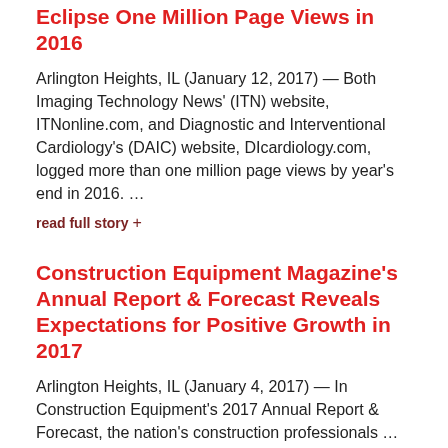Eclipse One Million Page Views in 2016
Arlington Heights, IL (January 12, 2017) — Both Imaging Technology News' (ITN) website, ITNonline.com, and Diagnostic and Interventional Cardiology's (DAIC) website, DIcardiology.com, logged more than one million page views by year's end in 2016. …
read full story +
Construction Equipment Magazine's Annual Report & Forecast Reveals Expectations for Positive Growth in 2017
Arlington Heights, IL (January 4, 2017) — In Construction Equipment's 2017 Annual Report & Forecast, the nation's construction professionals …